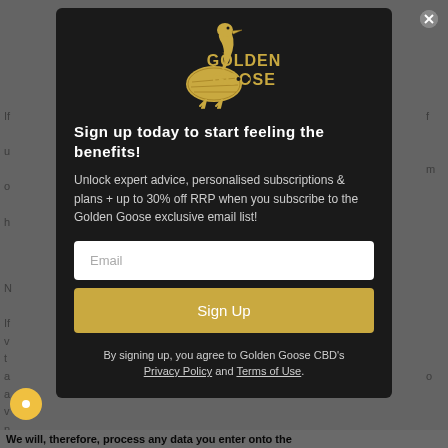[Figure (logo): Golden Goose CBD logo with golden goose illustration and text GOLDEN GOOSE]
Sign up today to start feeling the benefits!
Unlock expert advice, personalised subscriptions & plans + up to 30% off RRP when you subscribe to the Golden Goose exclusive email list!
Email (input field placeholder)
Sign Up (button)
By signing up, you agree to Golden Goose CBD's Privacy Policy and Terms of Use.
We will, therefore, process any data you enter onto the